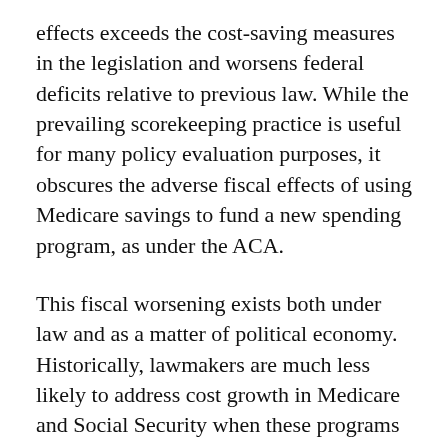effects exceeds the cost-saving measures in the legislation and worsens federal deficits relative to previous law. While the prevailing scorekeeping practice is useful for many policy evaluation purposes, it obscures the adverse fiscal effects of using Medicare savings to fund a new spending program, as under the ACA.
This fiscal worsening exists both under law and as a matter of political economy. Historically, lawmakers are much less likely to address cost growth in Medicare and Social Security when these programs are deemed to be solvent. Whenever the solvency of these programs is further extended, the political imperative for cost reductions is diminished and more spending occurs as a result.